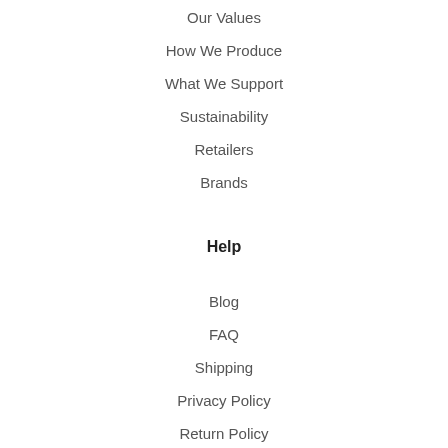Our Values
How We Produce
What We Support
Sustainability
Retailers
Brands
Help
Blog
FAQ
Shipping
Privacy Policy
Return Policy
Terms of Service
Legal Notice